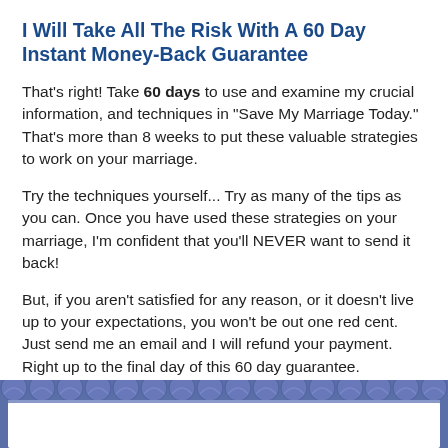I Will Take All The Risk With A 60 Day Instant Money-Back Guarantee
That's right! Take 60 days to use and examine my crucial information, and techniques in "Save My Marriage Today." That's more than 8 weeks to put these valuable strategies to work on your marriage.
Try the techniques yourself... Try as many of the tips as you can. Once you have used these strategies on your marriage, I'm confident that you'll NEVER want to send it back!
But, if you aren't satisfied for any reason, or it doesn't live up to your expectations, you won't be out one red cent. Just send me an email and I will refund your payment. Right up to the final day of this 60 day guarantee.
[Figure (illustration): Decorative certificate border strip with blue scallop/fan pattern at the bottom of the page]